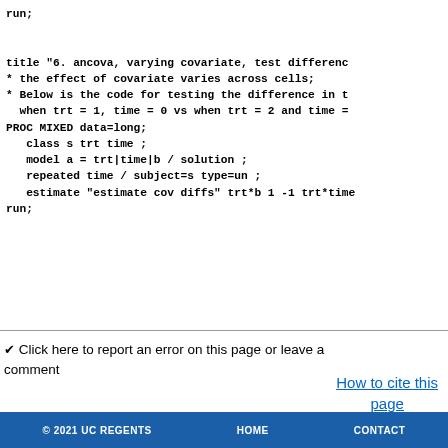run;

title "6. ancova, varying covariate, test differenc
* the effect of covariate varies across cells;
* Below is the code for testing the difference in t
  when trt = 1, time = 0 vs when trt = 2 and time =
PROC MIXED data=long;
   class s trt time ;
   model a = trt|time|b / solution ;
   repeated time / subject=s type=un ;
   estimate "estimate cov diffs" trt*b 1 -1 trt*time
run;
✓ Click here to report an error on this page or leave a comment
How to cite this page
© 2021 UC REGENTS   HOME   CONTACT